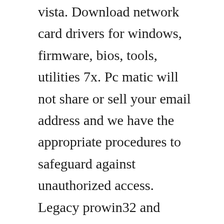vista. Download network card drivers for windows, firmware, bios, tools, utilities 7x. Pc matic will not share or sell your email address and we have the appropriate procedures to safeguard against unauthorized access. Legacy prowin32 and prowin64 download packages provide proset, driver, ans, fcoe, and dcb support for windows 7 and windows server 2008 r2. After you identify your intel wireless adapter name and current driver version, download the latest driver. Wireless is if the meaning of the word can be interpreted as without cable, which is doing. Update your